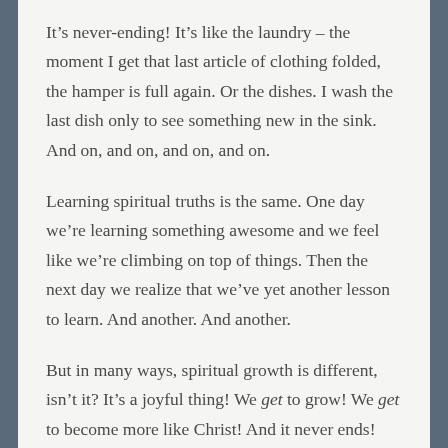It's never-ending! It's like the laundry – the moment I get that last article of clothing folded, the hamper is full again. Or the dishes. I wash the last dish only to see something new in the sink. And on, and on, and on, and on.
Learning spiritual truths is the same. One day we're learning something awesome and we feel like we're climbing on top of things. Then the next day we realize that we've yet another lesson to learn. And another. And another.
But in many ways, spiritual growth is different, isn't it? It's a joyful thing! We get to grow! We get to become more like Christ! And it never ends! It's